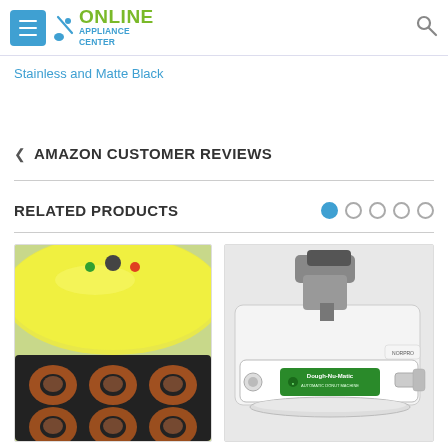Online Appliance Center
Stainless and Matte Black
AMAZON CUSTOMER REVIEWS
RELATED PRODUCTS
[Figure (photo): Yellow donut maker appliance with several mini donuts cooking on a black non-stick plate]
[Figure (photo): Dough-Nu-Matic automatic donut making machine, white and silver appliance with green label]